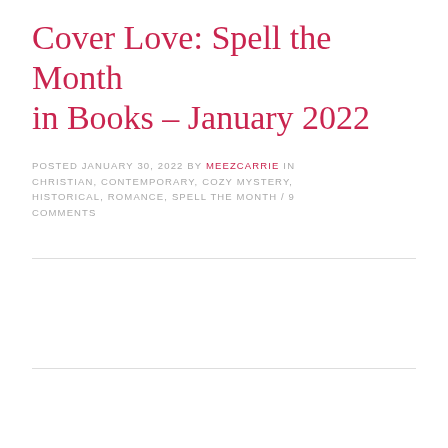Cover Love: Spell the Month in Books – January 2022
POSTED JANUARY 30, 2022 BY MEEZCARRIE IN CHRISTIAN, CONTEMPORARY, COZY MYSTERY, HISTORICAL, ROMANCE, SPELL THE MONTH / 9 COMMENTS